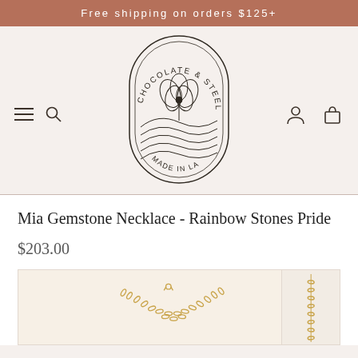Free shipping on orders $125+
[Figure (logo): Chocolate & Steel brand logo — oval/pill shaped outline containing a poppy flower illustration above rolling wave hills, with text 'CHOCOLATE & STEEL' arched at top and 'MADE IN LA' at bottom]
Mia Gemstone Necklace - Rainbow Stones Pride
$203.00
[Figure (photo): Gold chain necklace product photo on light background, showing a delicate gold paperclip-style chain necklace laid flat]